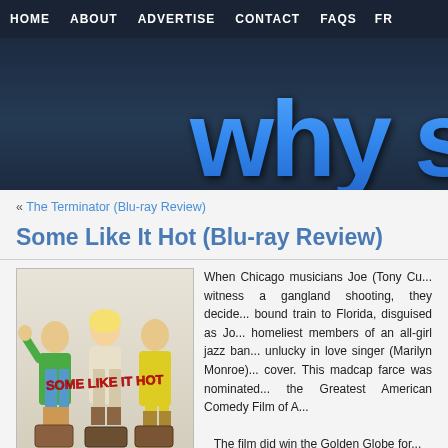HOME   ABOUT   ADVERTISE   CONTACT   FAQS   FR
[Figure (logo): Website logo showing 'why s' in large blue text on dark navy background]
« The Terminator (Blu-ray Review)
Some Like It Hot (Blu-ray Review)
[Figure (illustration): Some Like It Hot movie poster showing three figures: two in dresses and one in green jacket, with red stylized text 'SOME LIKE IT HOT' across the middle]
When Chicago musicians Joe (Tony Cu... witness a gangland shooting, they decide... bound train to Florida, disguised as Jo... homeliest members of an all-girl jazz ban... unlucky in love singer (Marilyn Monroe)... cover. This madcap farce was nominated... the Greatest American Comedy Film of A...   The film did win the Golden Globe for...
Monroe won the Golden Globe for Best Actress in Musical or Comedy, and... Musical or Comedy.